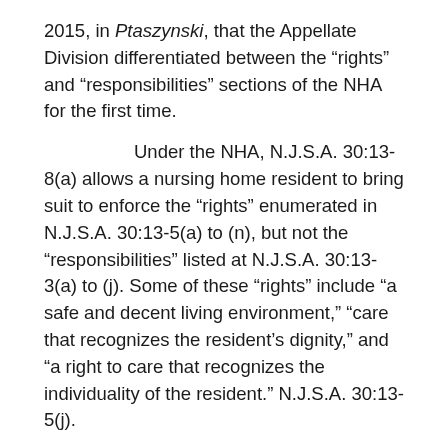2015, in Ptaszynski, that the Appellate Division differentiated between the “rights” and “responsibilities” sections of the NHA for the first time.
Under the NHA, N.J.S.A. 30:13-8(a) allows a nursing home resident to bring suit to enforce the “rights” enumerated in N.J.S.A. 30:13-5(a) to (n), but not the “responsibilities” listed at N.J.S.A. 30:13-3(a) to (j). Some of these “rights” include “a safe and decent living environment,” “care that recognizes the resident’s dignity,” and “a right to care that recognizes the individuality of the resident.” N.J.S.A. 30:13-5(j).
In Ptaszynski, the Appellate Division clarified certain aspects of the NHA. The court first clarified that experts are not to testify about the meaning of